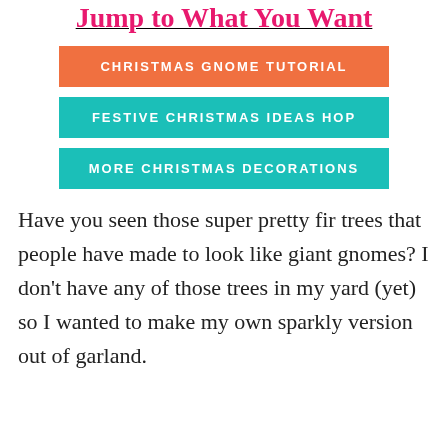Jump to What You Want
CHRISTMAS GNOME TUTORIAL
FESTIVE CHRISTMAS IDEAS HOP
MORE CHRISTMAS DECORATIONS
Have you seen those super pretty fir trees that people have made to look like giant gnomes? I don’t have any of those trees in my yard (yet) so I wanted to make my own sparkly version out of garland.